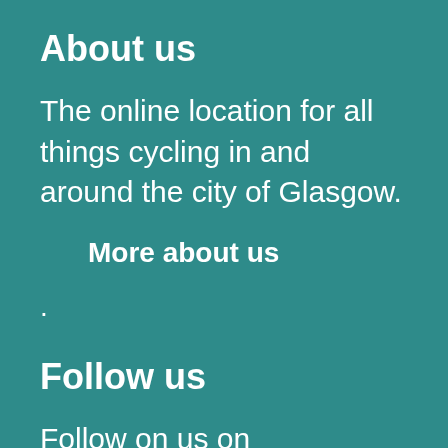About us
The online location for all things cycling in and around the city of Glasgow.
More about us
.
Follow us
Follow on us on